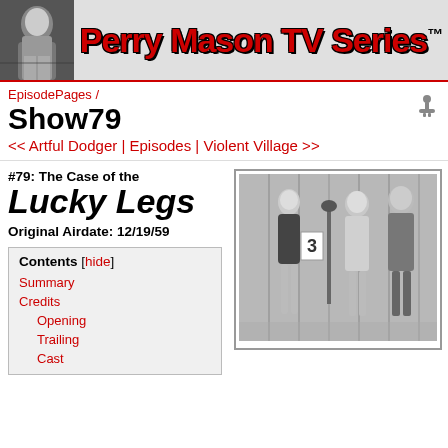Perry Mason TV Series™
EpisodePages / Show79
<< Artful Dodger | Episodes | Violent Village >>
#79: The Case of the Lucky Legs
Original Airdate: 12/19/59
[Figure (photo): Black and white still from Perry Mason episode showing a woman in a swimsuit holding number 3 card, with two men in suits]
Contents [hide]
Summary
Credits
Opening
Trailing
Cast